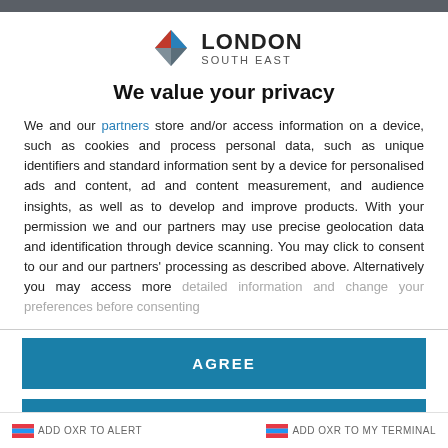[Figure (logo): London South East logo with geometric diamond shape in red, grey and blue, followed by 'LONDON' in bold and 'SOUTH EAST' in smaller text]
We value your privacy
We and our partners store and/or access information on a device, such as cookies and process personal data, such as unique identifiers and standard information sent by a device for personalised ads and content, ad and content measurement, and audience insights, as well as to develop and improve products. With your permission we and our partners may use precise geolocation data and identification through device scanning. You may click to consent to our and our partners' processing as described above. Alternatively you may access more detailed information and change your preferences before consenting
AGREE
MORE OPTIONS
Add OXR to Alert   Add OXR to my terminal